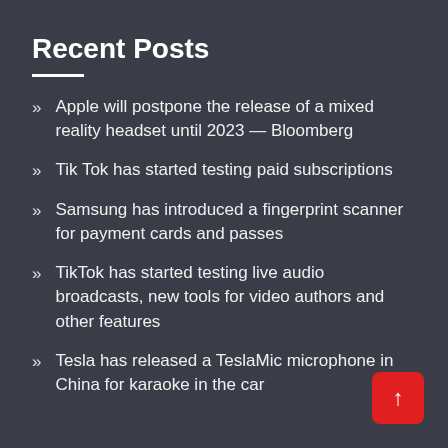Recent Posts
Apple will postpone the release of a mixed reality headset until 2023 — Bloomberg
Tik Tok has started testing paid subscriptions
Samsung has introduced a fingerprint scanner for payment cards and passes
TikTok has started testing live audio broadcasts, new tools for video authors and other features
Tesla has released a TeslaMic microphone in China for karaoke in the car